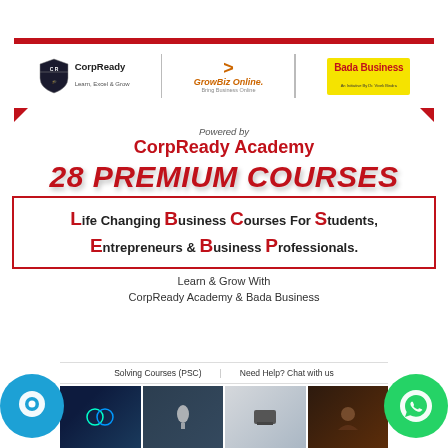[Figure (logo): CorpReady, GrowBiz Online, and Bada Business logos in a white banner with red frame]
Powered by
CorpReady Academy
28 PREMIUM COURSES
Life Changing Business Courses For Students, Entrepreneurs & Business Professionals.
Learn & Grow With CorpReady Academy & Bada Business
Solving Courses (PSC)   Need Help? Chat with us
[Figure (photo): Row of thumbnail photos at bottom of page]